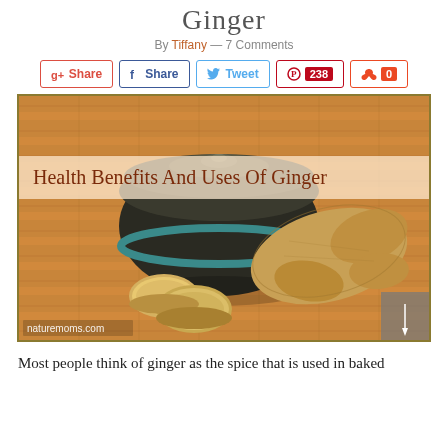Ginger
By Tiffany — 7 Comments
[Figure (photo): A dark ceramic bowl with ginger root pieces and slices on a bamboo mat, with text overlay reading 'Health Benefits And Uses Of Ginger'. Watermark 'naturemoms.com' at bottom left.]
Most people think of ginger as the spice that is used in baked